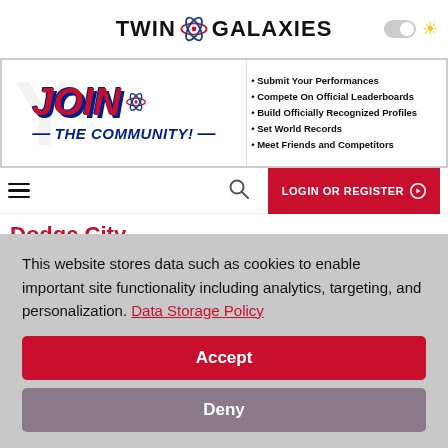[Figure (logo): Twin Galaxies logo with atom graphic and text]
[Figure (infographic): Join the Community banner ad with bullet points: Submit Your Performances, Compete On Official Leaderboards, Build Officially Recognized Profiles, Set World Records, Meet Friends and Competitors]
[Figure (screenshot): Navigation bar with hamburger menu, search icon, and LOGIN OR REGISTER button]
Dodge City
Platform : Pinball
This website stores data such as cookies to enable important site functionality including analytics, targeting, and personalization. Data Storage Policy
Accept
Deny